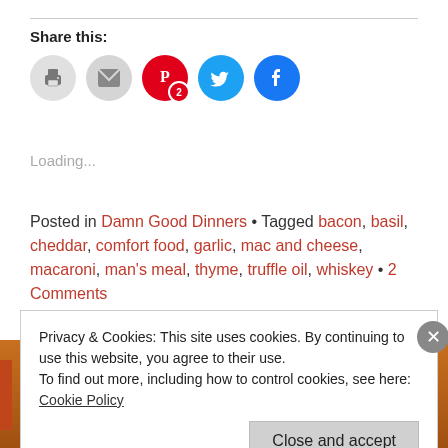Share this:
[Figure (other): Social share buttons: print (gray circle), email (gray circle), Pinterest (red circle with P and badge 2), Twitter (cyan circle with bird icon), Facebook (blue circle with f icon)]
Loading...
Posted in Damn Good Dinners • Tagged bacon, basil, cheddar, comfort food, garlic, mac and cheese, macaroni, man's meal, thyme, truffle oil, whiskey • 2 Comments
[Figure (screenshot): Bottom image showing orange/golden food background]
Privacy & Cookies: This site uses cookies. By continuing to use this website, you agree to their use.
To find out more, including how to control cookies, see here: Cookie Policy
Close and accept